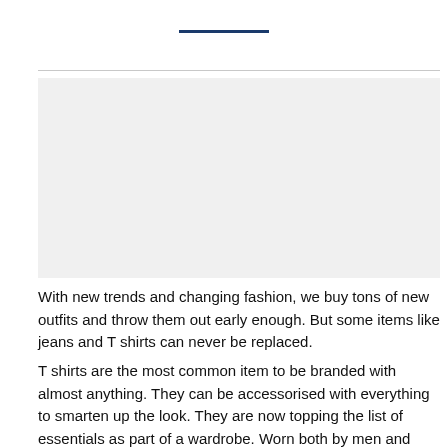[Figure (other): Decorative blue horizontal rule near top of page]
[Figure (photo): Image or banner area below the horizontal rule, placeholder visible]
With new trends and changing fashion, we buy tons of new outfits and throw them out early enough. But some items like jeans and T shirts can never be replaced.
T shirts are the most common item to be branded with almost anything. They can be accessorised with everything to smarten up the look. They are now topping the list of essentials as part of a wardrobe. Worn both by men and women, comfort and is what underpins their success. Their